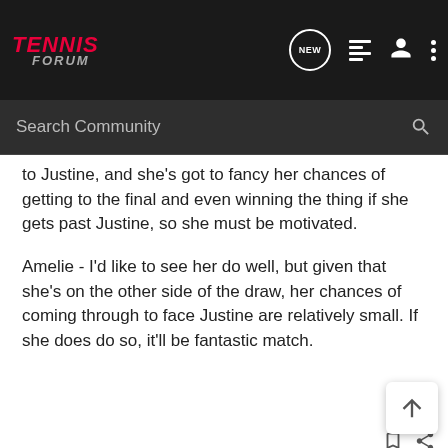[Figure (logo): Tennis Forum logo with red italic TENNIS text and grey FORUM subtext on dark background]
Search Community
to Justine, and she's got to fancy her chances of getting to the final and even winning the thing if she gets past Justine, so she must be motivated.
Amelie - I'd like to see her do well, but given that she's on the other side of the draw, her chances of coming through to face Justine are relatively small. If she does do so, it'll be fantastic match.